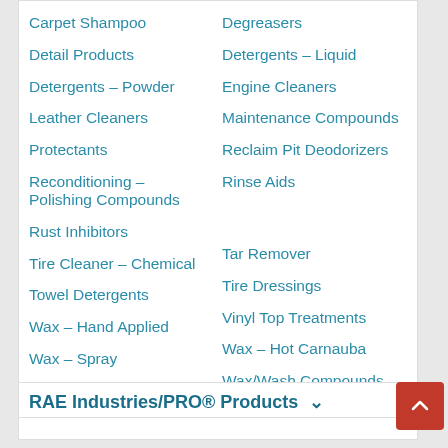Carpet Shampoo
Degreasers
Detail Products
Detergents – Liquid
Detergents – Powder
Engine Cleaners
Leather Cleaners
Maintenance Compounds
Protectants
Reclaim Pit Deodorizers
Reconditioning – Polishing Compounds
Rinse Aids
Rust Inhibitors
Tar Remover
Tire Cleaner – Chemical
Tire Dressings
Towel Detergents
Vinyl Top Treatments
Wax – Hand Applied
Wax – Hot Carnauba
Wax – Spray
Wax/Wash Compounds
Whitewall Cleaners
Window Cleaners
RAE Industries/PRO® Products